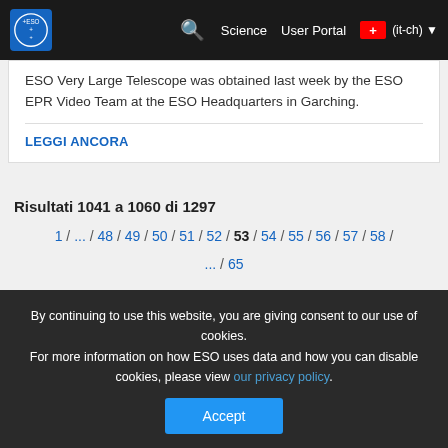ESO navigation bar with logo, Science, User Portal, (it-ch)
ESO Very Large Telescope was obtained last week by the ESO EPR Video Team at the ESO Headquarters in Garching.
LEGGI ANCORA
Risultati 1041 a 1060 di 1297
1 / ... / 48 / 49 / 50 / 51 / 52 / 53 / 54 / 55 / 56 / 57 / 58 / ... / 65
PRECEDENTE   PROSSIMO
Usage of ESO Images, Videos, Web texts and Music
By continuing to use this website, you are giving consent to our use of cookies.
For more information on how ESO uses data and how you can disable cookies, please view our privacy policy.
Accept